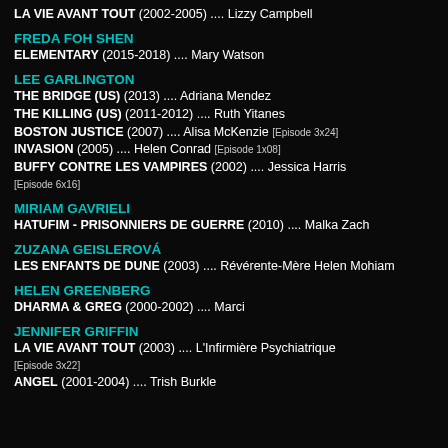LA VIE AVANT TOUT (2002-2005) .... Lizzy Campbell
FREDA FOH SHEN
ELEMENTARY (2015-2018) .... Mary Watson
LEE GARLINGTON
THE BRIDGE (US) (2013) .... Adriana Mendez
THE KILLING (US) (2011-2012) .... Ruth Yitanes
BOSTON JUSTICE (2007) .... Alisa McKenzie [Episode 3x24]
INVASION (2005) .... Helen Conrad [Episode 1x08]
BUFFY CONTRE LES VAMPIRES (2002) .... Jessica Harris [Episode 6x16]
MIRIAM GAVRIELI
HATUFIM - PRISONNIERS DE GUERRE (2010) .... Malka Zach
ZUZANA GEISLEROVÁ
LES ENFANTS DE DUNE (2003) .... Révérente-Mère Helen Mohiam
HELEN GREENBERG
DHARMA & GREG (2000-2002) .... Marci
JENNIFER GRIFFIN
LA VIE AVANT TOUT (2003) .... L'Infirmière Psychiatrique [Episode 3x22]
ANGEL (2001-2004) .... Trish Burkle